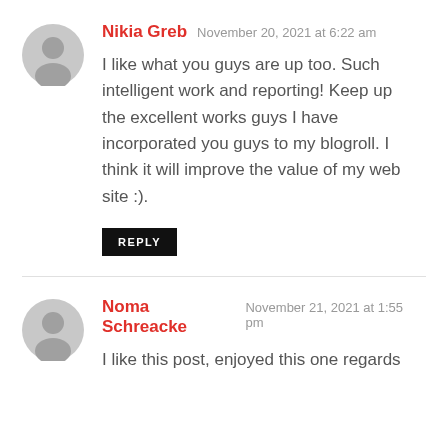Nikia Greb   November 20, 2021 at 6:22 am
I like what you guys are up too. Such intelligent work and reporting! Keep up the excellent works guys I have incorporated you guys to my blogroll. I think it will improve the value of my web site :).
REPLY
Noma Schreacke   November 21, 2021 at 1:55 pm
I like this post, enjoyed this one regards